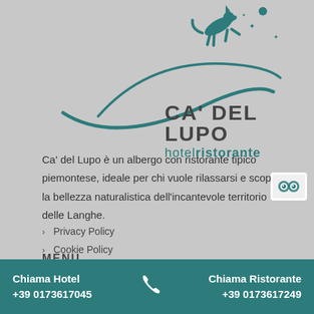[Figure (logo): Ca' del Lupo hotelristorante logo with teal wolf/swoosh graphic and stars]
CA' DEL LUPO hotelristorante
Ca' del Lupo è un albergo con ristorante tipico piemontese, ideale per chi vuole rilassarsi e scoprire la bellezza naturalistica dell'incantevole territorio delle Langhe.
› Privacy Policy
› Cookie Policy
MENU
Chiama Hotel +39 0173617045    Chiama Ristorante +39 0173617249